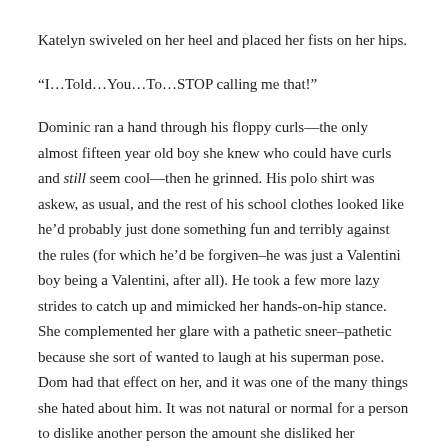Katelyn swiveled on her heel and placed her fists on her hips.
“I…Told…You…To…STOP calling me that!”
Dominic ran a hand through his floppy curls—the only almost fifteen year old boy she knew who could have curls and still seem cool—then he grinned. His polo shirt was askew, as usual, and the rest of his school clothes looked like he’d probably just done something fun and terribly against the rules (for which he’d be forgiven–he was just a Valentini boy being a Valentini, after all). He took a few more lazy strides to catch up and mimicked her hands-on-hip stance. She complemented her glare with a pathetic sneer–pathetic because she sort of wanted to laugh at his superman pose. Dom had that effect on her, and it was one of the many things she hated about him. It was not natural or normal for a person to dislike another person the amount she disliked her obnoxious neighbor and yet he always knew how to get a laugh or smile out of her.
“Ok. I’ll stop calling you Motor Mouth. It’s your stupid brother’s